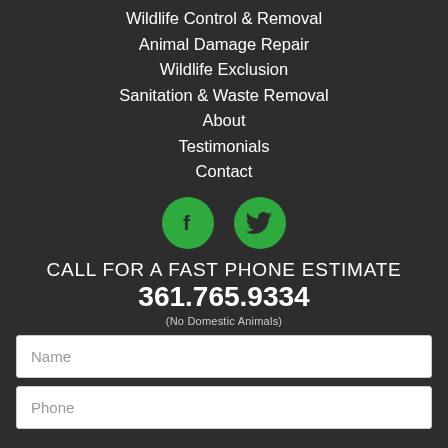Wildlife Control & Removal
Animal Damage Repair
Wildlife Exclusion
Sanitation & Waste Removal
About
Testimonials
Contact
[Figure (infographic): Two green circular social media icons: Facebook (f) and Twitter (bird)]
CALL FOR A FAST PHONE ESTIMATE
361.765.9334
(No Domestic Animals)
Name
Phone